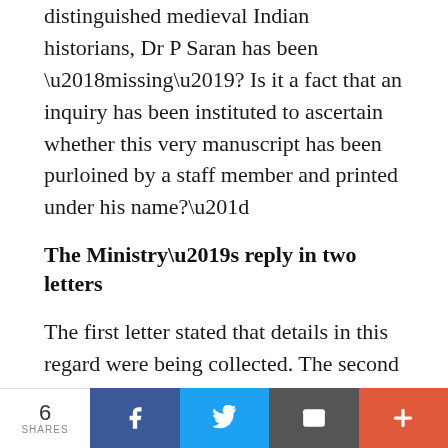distinguished medieval Indian historians, Dr P Saran has been ‘missing’? Is it a fact that an inquiry has been instituted to ascertain whether this very manuscript has been purloined by a staff member and printed under his name?”
The Ministry’s reply in two letters
The first letter stated that details in this regard were being collected. The second letter of the same day stated, “As regards missing manuscripts, the Council has stated that to the best of their knowledge
6 SHARES